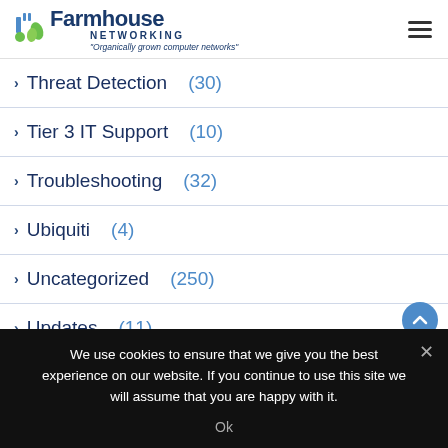Farmhouse Networking – Organically grown computer networks
Threat Detection (30)
Tier 3 IT Support (10)
Troubleshooting (32)
Ubiquiti (4)
Uncategorized (250)
Updates (11)
Video Conferencing (1)
We use cookies to ensure that we give you the best experience on our website. If you continue to use this site we will assume that you are happy with it.
Ok